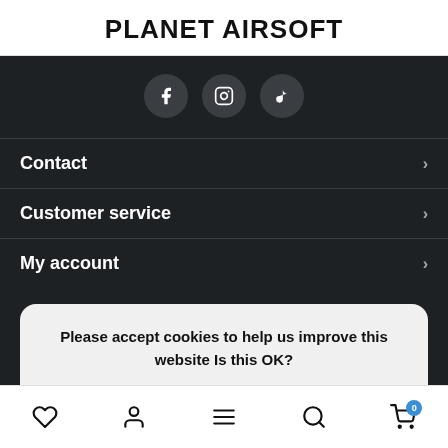PLANET AIRSOFT
[Figure (other): Social media icons: Facebook, Instagram, TikTok]
Contact
Customer service
My account
Please accept cookies to help us improve this website Is this OK?
Yes
No
More on cookies »
♡  👤  ≡  🔍  🛒 0